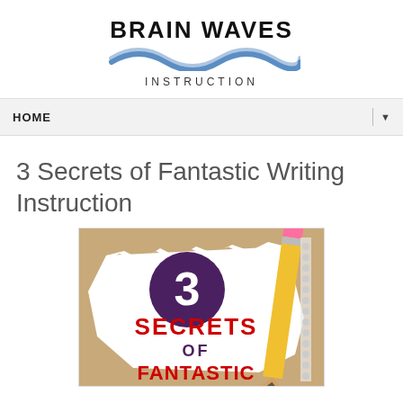[Figure (logo): Brain Waves Instruction logo with bold text and blue wave graphic and 'INSTRUCTION' subtitle]
HOME ▼
3 Secrets of Fantastic Writing Instruction
[Figure (illustration): Book cover showing '3 SECRETS OF FANTASTIC...' with a large purple circle containing '3', red bold text 'SECRETS OF' on white torn paper over a corkboard background, and a yellow pencil on the right]